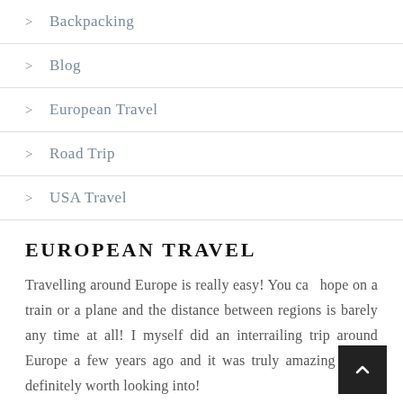> Backpacking
> Blog
> European Travel
> Road Trip
> USA Travel
EUROPEAN TRAVEL
Travelling around Europe is really easy! You can hope on a train or a plane and the distance between regions is barely any time at all! I myself did an interrailing trip around Europe a few years ago and it was truly amazing so it's definitely worth looking into!